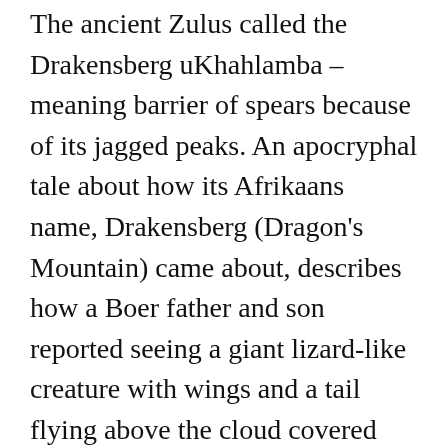The ancient Zulus called the Drakensberg uKhahlamba – meaning barrier of spears because of its jagged peaks. An apocryphal tale about how its Afrikaans name, Drakensberg (Dragon's Mountain) came about, describes how a Boer father and son reported seeing a giant lizard-like creature with wings and a tail flying above the cloud covered peaks.
Geologically the Drakensberg is a remnant of the original African plateau that existed 200 million years ago. Towards the end of this period, a cataclysmic geological event occurred that pushed the molten magma up through the earth to form basaltic lava. As the process of erosion and degradation of the land progressed, various uplifts occurred, which resulted in raising the summit of the Drakensberg to around 3000 meters